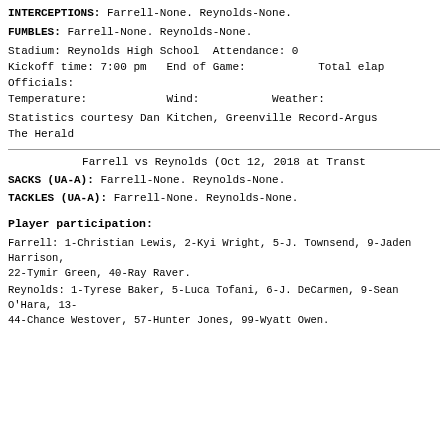INTERCEPTIONS: Farrell-None. Reynolds-None.
FUMBLES: Farrell-None. Reynolds-None.
Stadium: Reynolds High School  Attendance: 0
Kickoff time: 7:00 pm   End of Game:           Total elap
Officials:
Temperature:            Wind:           Weather:
Statistics courtesy Dan Kitchen, Greenville Record-Argus
The Herald
Farrell vs Reynolds (Oct 12, 2018 at Transt
SACKS (UA-A): Farrell-None. Reynolds-None.
TACKLES (UA-A): Farrell-None. Reynolds-None.
Player participation:
Farrell: 1-Christian Lewis, 2-Kyi Wright, 5-J. Townsend, 9-Jaden Harrison, 22-Tymir Green, 40-Ray Raver.
Reynolds: 1-Tyrese Baker, 5-Luca Tofani, 6-J. DeCarmen, 9-Sean O'Hara, 13- 44-Chance Westover, 57-Hunter Jones, 99-Wyatt Owen.